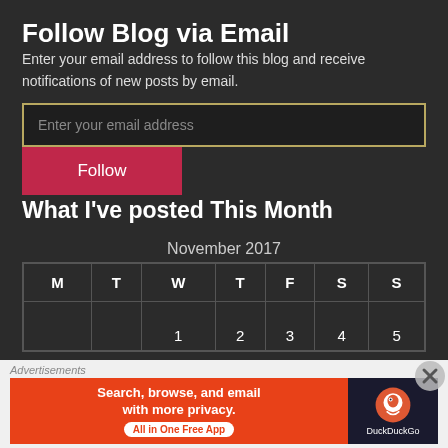Follow Blog via Email
Enter your email address to follow this blog and receive notifications of new posts by email.
[Figure (screenshot): Email input field with placeholder text 'Enter your email address' and a red Follow button below it]
What I've posted This Month
November 2017
| M | T | W | T | F | S | S |
| --- | --- | --- | --- | --- | --- | --- |
|  |  | 1 | 2 | 3 | 4 | 5 |
Advertisements
[Figure (screenshot): DuckDuckGo advertisement banner: 'Search, browse, and email with more privacy. All in One Free App' with DuckDuckGo logo on dark background]